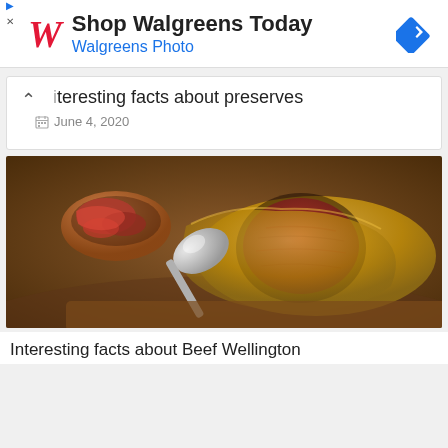[Figure (screenshot): Walgreens advertisement banner with red cursive W logo, text 'Shop Walgreens Today' and 'Walgreens Photo' in blue, and a blue diamond navigation icon on the right.]
interesting facts about preserves
June 4, 2020
[Figure (photo): A sliced Beef Wellington showing pink medium-rare beef inside a pastry crust, with a metal spoon and cured meats in a bowl in the background.]
Interesting facts about Beef Wellington